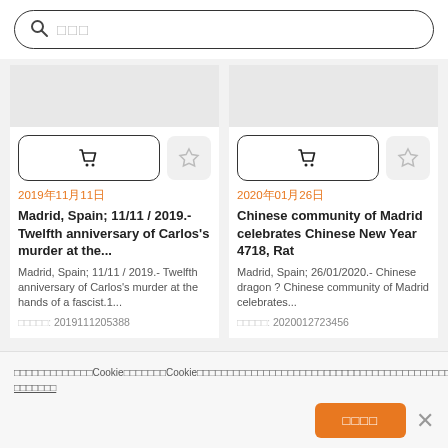[Figure (screenshot): Search bar with magnifier icon and placeholder text]
[Figure (screenshot): Two product/article cards with cart and favorite buttons, dates, titles, descriptions, and IDs. Left card: date 2019年11月11日, title Madrid, Spain; 11/11 / 2019.- Twelfth anniversary of Carlos's murder at the..., desc Madrid, Spain; 11/11 / 2019.- Twelfth anniversary of Carlos's murder at the hands of a fascist.1..., id 2019111205388. Right card: date 2020年01月26日, title Chinese community of Madrid celebrates Chinese New Year 4718, Rat, desc Madrid, Spain; 26/01/2020.- Chinese dragon ? Chinese community of Madrid celebrates..., id 2020012723456]
我们在网站和我们的合作伙伴网站上使用Cookie。如果您继续，Cookie政策中描述的条款将适用。您可以更改Cookie设置并了解更多信息，请参阅我们的Cookie政策。 了解更多信息
确认同意